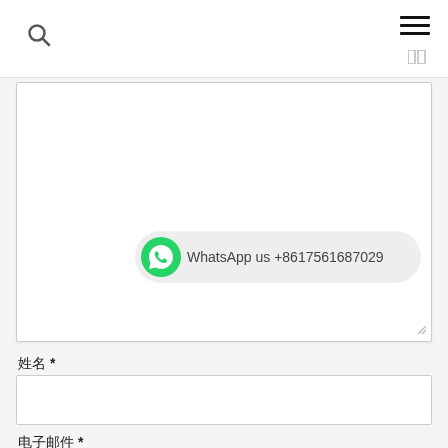[Figure (screenshot): Search icon (magnifying glass) in top navigation bar]
[Figure (screenshot): Hamburger menu icon (three horizontal lines) in top right navigation]
[Figure (screenshot): Page/grid icon in top right below hamburger]
[Figure (screenshot): Large white textarea input field with resize handle and WhatsApp chat bubble overlay showing 'WhatsApp us +8617561687029']
姓名 *
[Figure (screenshot): Text input field for 姓名 (Name)]
电子邮件 *
[Figure (screenshot): Text input field for 电子邮件 (Email)]
网站
[Figure (screenshot): Text input field for 网站 (Website)]